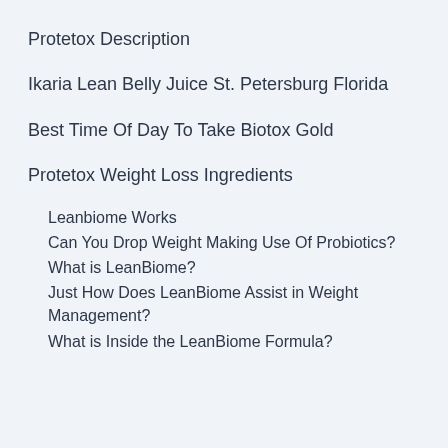Protetox Description
Ikaria Lean Belly Juice St. Petersburg Florida
Best Time Of Day To Take Biotox Gold
Protetox Weight Loss Ingredients
Leanbiome Works
Can You Drop Weight Making Use Of Probiotics?
What is LeanBiome?
Just How Does LeanBiome Assist in Weight Management?
What is Inside the LeanBiome Formula?